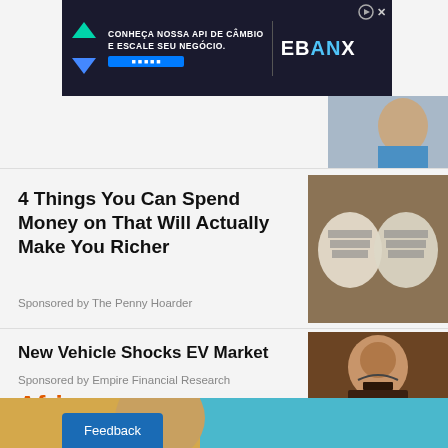[Figure (screenshot): EBANX advertisement banner with arrows and Portuguese text 'Conheça nossa API de câmbio e escale seu negócio']
[Figure (photo): Partial photo of a man in top-right corner]
4 Things You Can Spend Money on That Will Actually Make You Richer
Sponsored by The Penny Hoarder
[Figure (photo): Photo of bags of money/cash bundles on a table]
New Vehicle Shocks EV Market
Sponsored by Empire Financial Research
[Figure (photo): Photo of a bearded man with dark background]
Africa
[Figure (photo): Bottom strip showing partial image with yellow and teal colors]
Feedback